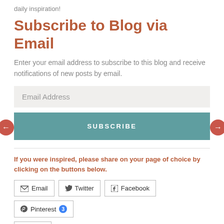daily inspiration!
Subscribe to Blog via Email
Enter your email address to subscribe to this blog and receive notifications of new posts by email.
Email Address
SUBSCRIBE
If you were inspired, please share on your page of choice by clicking on the buttons below.
Email  Twitter  Facebook  Pinterest 3  Print